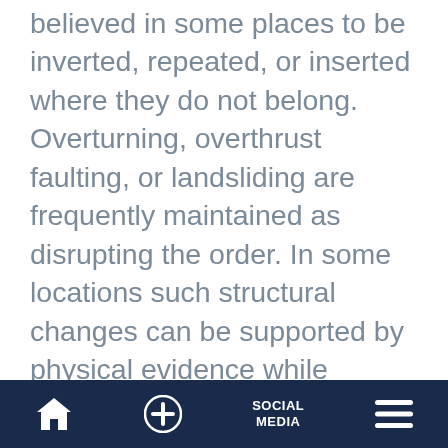believed in some places to be inverted, repeated, or inserted where they do not belong. Overturning, overthrust faulting, or landsliding are frequently maintained as disrupting the order. In some locations such structural changes can be supported by physical evidence while elsewhere physical evidence of the disruption may be lacking and special pleading may be required using fossils or radiometric dating.
Misconception No. 5. Because each strata system has distinctive lithologic composition, a newly
Home | + | SOCIAL MEDIA | Menu